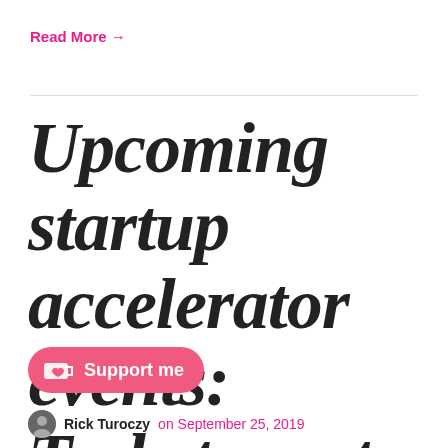Read More →
Upcoming startup accelerator events: Techstars at the beginning and Oregon Enterprise Blockchain Venture Studio at the end
Support me
Rick Turoczy on September 25, 2019